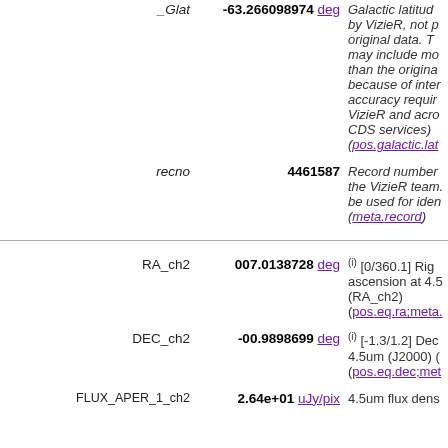| Name | Value | Description |
| --- | --- | --- |
| _Glat | -63.266098974 deg | Galactic latitude computed by VizieR, not part of the original data. The format may include more digits than the original data because of internal accuracy requirements of VizieR and across the CDS services) (pos.galactic.lat... |
| recno | 4461587 | Record number assigned by the VizieR team. Should not be used for identification. (meta.record) |
| RA_ch2 | 007.0138728 deg | (i) [0/360.1] Right ascension at 4.5 (RA_ch2) (pos.eq.ra;meta.... |
| DEC_ch2 | -00.9898699 deg | (i) [-1.3/1.2] Declination 4.5um (J2000) (pos.eq.dec;met... |
| FLUX_APER_1_ch2 | 2.64e+01 uJy/pix | 4.5um flux dens... |